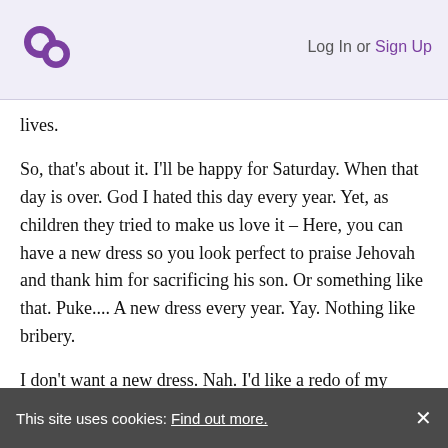Log In or Sign Up
lives.
So, that’s about it. I’ll be happy for Saturday. When that day is over. God I hated this day every year. Yet, as children they tried to make us love it – Here, you can have a new dress so you look perfect to praise Jehovah and thank him for sacrificing his son. Or something like that. Puke.... A new dress every year. Yay. Nothing like bribery.
I don’t want a new dress. Nah. I’d like a redo of my childhood please. One where I was taught to respect myself. Taught it was okay to think for myself. Encouraged to succeed and go places. Taught girls were as important as boys. One that I wasn’t forced
This site uses cookies: Find out more.